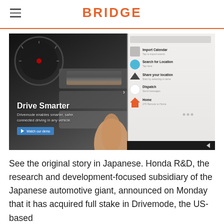BRIDGE
[Figure (photo): Hero image of a car dashboard with a smartphone showing a Drivemode app interface with menu items: Import Calendar, Search for Location, Share your location, Dispatch, Home. Overlaid text reads 'Drive Smarter' with subtitle 'Drivemode enables smarter, safer, connected driving in any vehicle.' and a 'Watch our demo' button.]
See the original story in Japanese. Honda R&D, the research and development-focused subsidiary of the Japanese automotive giant, announced on Monday that it has acquired full stake in Drivemode, the US-based